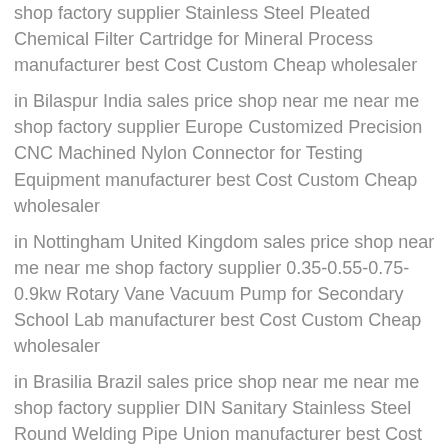shop factory supplier Stainless Steel Pleated Chemical Filter Cartridge for Mineral Process manufacturer best Cost Custom Cheap wholesaler
in Bilaspur India sales price shop near me near me shop factory supplier Europe Customized Precision CNC Machined Nylon Connector for Testing Equipment manufacturer best Cost Custom Cheap wholesaler
in Nottingham United Kingdom sales price shop near me near me shop factory supplier 0.35-0.55-0.75-0.9kw Rotary Vane Vacuum Pump for Secondary School Lab manufacturer best Cost Custom Cheap wholesaler
in Brasilia Brazil sales price shop near me near me shop factory supplier DIN Sanitary Stainless Steel Round Welding Pipe Union manufacturer best Cost Custom Cheap wholesaler
in Gombe Nigeria sales price shop near me near me